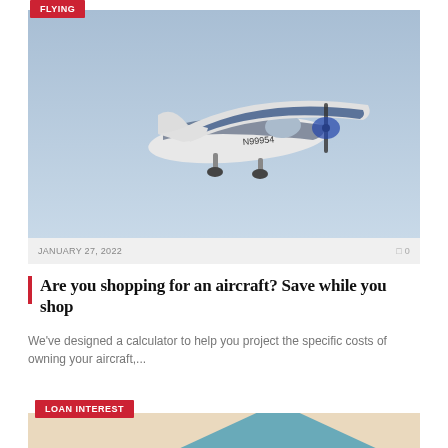[Figure (photo): Small aircraft (Cessna-style, blue and white, registration N99954) flying against a light blue sky]
JANUARY 27, 2022   □ 0
Are you shopping for an aircraft? Save while you shop
We've designed a calculator to help you project the specific costs of owning your aircraft,...
[Figure (photo): Loan interest article thumbnail — beige/peach background with a teal/blue mountain/pyramid shape visible]